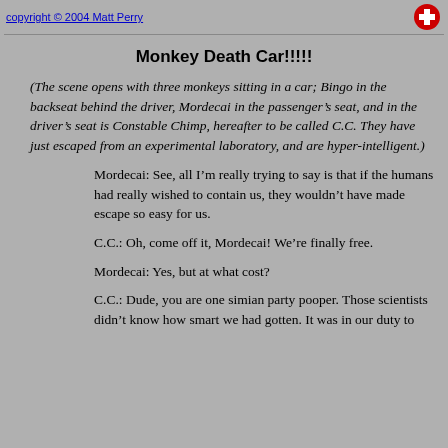copyright © 2004 Matt Perry
Monkey Death Car!!!!!
(The scene opens with three monkeys sitting in a car; Bingo in the backseat behind the driver, Mordecai in the passenger's seat, and in the driver's seat is Constable Chimp, hereafter to be called C.C. They have just escaped from an experimental laboratory, and are hyper-intelligent.)
Mordecai: See, all I'm really trying to say is that if the humans had really wished to contain us, they wouldn't have made escape so easy for us.
C.C.: Oh, come off it, Mordecai! We're finally free.
Mordecai: Yes, but at what cost?
C.C.: Dude, you are one simian party pooper. Those scientists didn't know how smart we had gotten. It was in our duty to